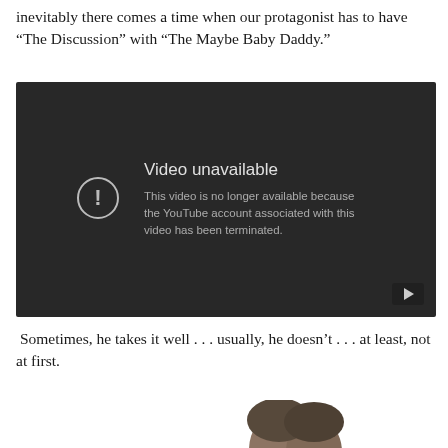inevitably there comes a time when our protagonist has to have “The Discussion” with “The Maybe Baby Daddy.”
[Figure (screenshot): YouTube video unavailable screen with dark background. Shows exclamation mark icon and text: 'Video unavailable. This video is no longer available because the YouTube account associated with this video has been terminated.' A YouTube play button icon is visible in the bottom-right corner.]
Sometimes, he takes it well . . . usually, he doesn’t . . . at least, not at first.
[Figure (photo): Partial photo showing tops of heads of two people, cropped at bottom of page.]